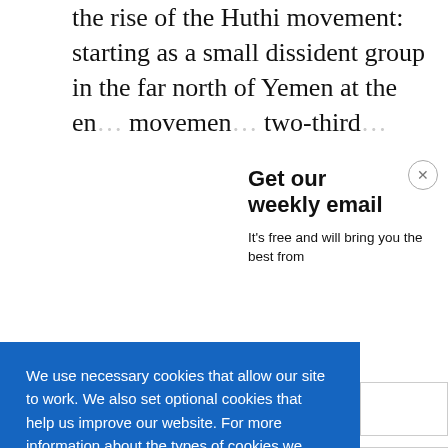the rise of the Huthi movement: starting as a small dissident group in the far north of Yemen at the end of the movement two-thirds
Get our weekly email
It's free and will bring you the best from
We use necessary cookies that allow our site to work. We also set optional cookies that help us improve our website. For more information about the types of cookies we use. READ OUR COOKIES POLICY HERE
COOKIE SETTINGS
ALLOW ALL COOKIES
data.
opposition